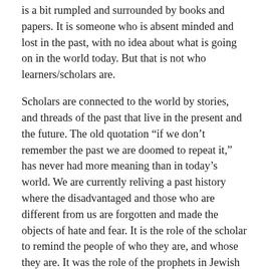is a bit rumpled and surrounded by books and papers. It is someone who is absent minded and lost in the past, with no idea about what is going on in the world today. But that is not who learners/scholars are.
Scholars are connected to the world by stories, and threads of the past that live in the present and the future. The old quotation “if we don’t remember the past we are doomed to repeat it,” has never had more meaning than in today’s world. We are currently reliving a past history where the disadvantaged and those who are different from us are forgotten and made the objects of hate and fear. It is the role of the scholar to remind the people of who they are, and whose they are. It was the role of the prophets in Jewish History, it was the role of John the Baptist, and it was the role of Jesus of Nazareth and Muhammad. All of them called to their people to see each other, everyone, as themselves. Today we have and had people like President Carter, Desmond Tutu, and Martin